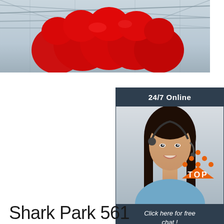[Figure (photo): A large red inflatable cloud/balloon decoration hanging inside a warehouse or exhibition hall with metal roof trusses visible in the background]
[Figure (infographic): 24/7 Online chat widget with a photo of a smiling woman wearing a headset. Bottom section says 'Click here for free chat!' with an orange QUOTATION button]
[Figure (logo): Orange TOP button logo with dots arranged in a triangle above the word TOP in orange letters]
Shark Park 561